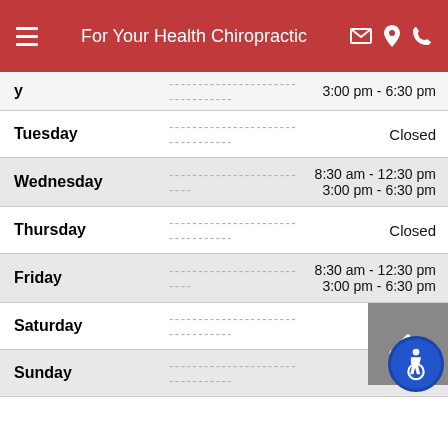For Your Health Chiropractic
| Day | Hours |
| --- | --- |
| (Mon)day | 3:00 pm - 6:30 pm |
| Tuesday | Closed |
| Wednesday | 8:30 am - 12:30 pm
3:00 pm - 6:30 pm |
| Thursday | Closed |
| Friday | 8:30 am - 12:30 pm
3:00 pm - 6:30 pm |
| Saturday | Closed |
| Sunday | Closed |